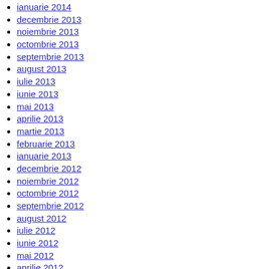ianuarie 2014
decembrie 2013
noiembrie 2013
octombrie 2013
septembrie 2013
august 2013
iulie 2013
iunie 2013
mai 2013
aprilie 2013
martie 2013
februarie 2013
ianuarie 2013
decembrie 2012
noiembrie 2012
octombrie 2012
septembrie 2012
august 2012
iulie 2012
iunie 2012
mai 2012
aprilie 2012
martie 2012
februarie 2012
ianuarie 2012